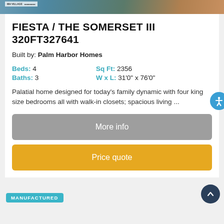[Figure (photo): Top portion of a home listing card showing a partial photo of a manufactured home interior/exterior]
FIESTA / THE SOMERSET III 320FT327641
Built by: Palm Harbor Homes
Beds: 4   Sq Ft: 2356
Baths: 3   W x L: 31'0" x 76'0"
Palatial home designed for today's family dynamic with four king size bedrooms all with walk-in closets; spacious living ...
More info
Price quote
MANUFACTURED